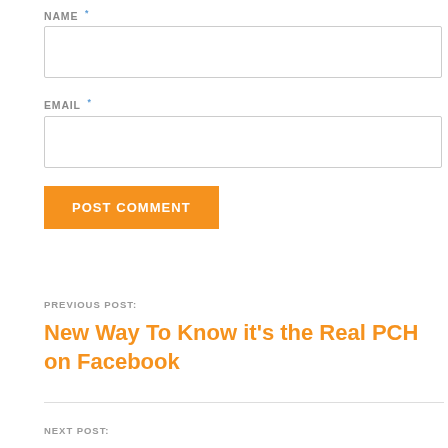NAME *
EMAIL *
POST COMMENT
PREVIOUS POST:
New Way To Know it's the Real PCH on Facebook
NEXT POST: